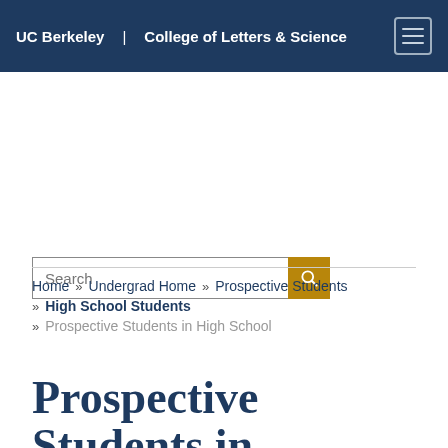UC Berkeley | College of Letters & Science
Search
Home » Undergrad Home » Prospective Students » High School Students » Prospective Students in High School
Prospective Students in